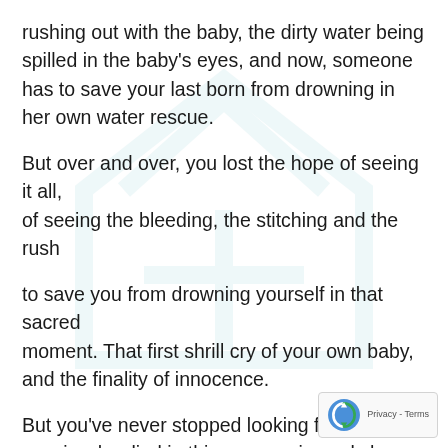rushing out with the baby, the dirty water being spilled in the baby's eyes, and now, someone has to save your last born from drowning in her own water rescue.
But over and over, you lost the hope of seeing it all, of seeing the bleeding, the stitching and the rush
to save you from drowning yourself in that sacred moment. That first shrill cry of your own baby, and the finality of innocence.
But you've never stopped looking for your cousin who died in this same universal char